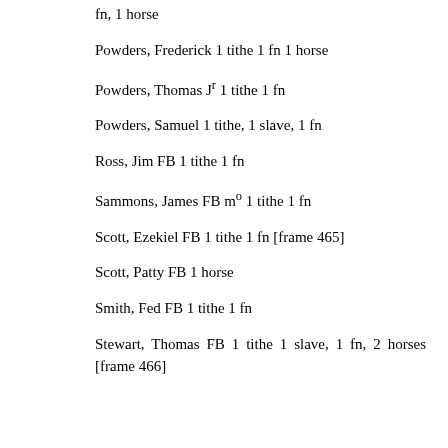fn, 1 horse
Powders, Frederick 1 tithe 1 fn 1 horse
Powders, Thomas Jr 1 tithe 1 fn
Powders, Samuel 1 tithe, 1 slave, 1 fn
Ross, Jim FB 1 tithe 1 fn
Sammons, James FB mo 1 tithe 1 fn
Scott, Ezekiel FB 1 tithe 1 fn [frame 465]
Scott, Patty FB 1 horse
Smith, Fed FB 1 tithe 1 fn
Stewart, Thomas FB 1 tithe 1 slave, 1 fn, 2 horses [frame 466]